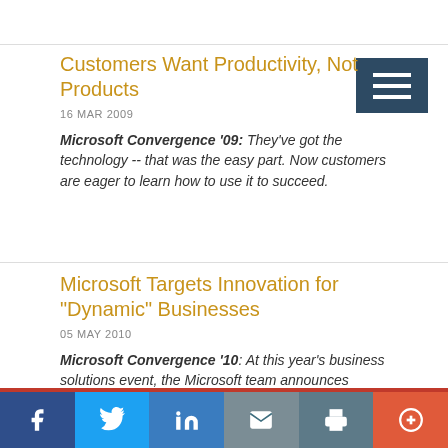Customers Want Productivity, Not Products
16 MAR 2009
Microsoft Convergence '09: They've got the technology -- that was the easy part. Now customers are eager to learn how to use it to succeed.
Microsoft Targets Innovation for "Dynamic" Businesses
05 MAY 2010
Microsoft Convergence '10: At this year's business solutions event, the Microsoft team announces extensions to CRM Dynamics Online and previews the next generation of Microsoft CRM.